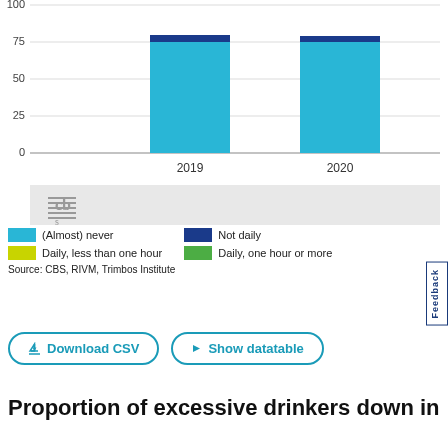[Figure (stacked-bar-chart): ]
(Almost) never   Not daily   Daily, less than one hour   Daily, one hour or more
Source: CBS, RIVM, Trimbos Institute
Download CSV   Show datatable
Proportion of excessive drinkers down in